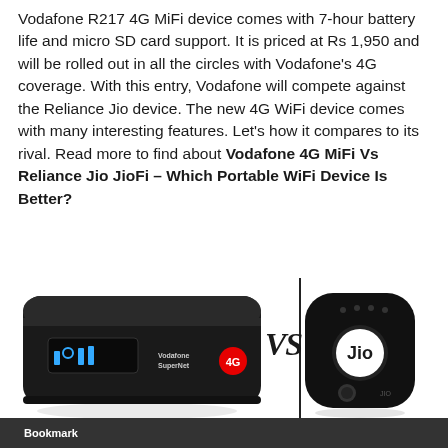Vodafone R217 4G MiFi device comes with 7-hour battery life and micro SD card support. It is priced at Rs 1,950 and will be rolled out in all the circles with Vodafone's 4G coverage. With this entry, Vodafone will compete against the Reliance Jio device. The new 4G WiFi device comes with many interesting features. Let's how it compares to its rival. Read more to find about Vodafone 4G MiFi Vs Reliance Jio JioFi – Which Portable WiFi Device Is Better?
[Figure (illustration): Two portable WiFi hotspot devices shown side by side with a VS separator. Left: Vodafone R217 4G MiFi device (black, rectangular with rounded corners, Vodafone SuperNet 4G branding). Right: Reliance Jio JioFi device (black, rounded shape with Jio logo).]